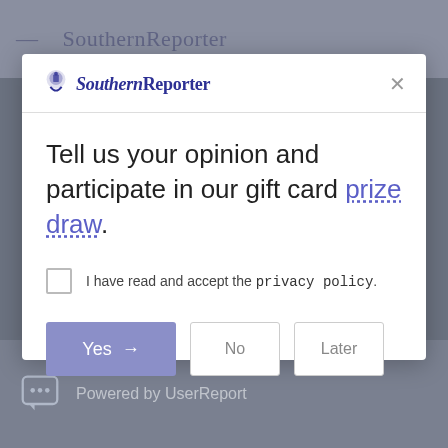[Figure (screenshot): Background showing a website with grey overlay and 'Southern Reporter' header text visible behind a modal dialog]
Southern Reporter
Tell us your opinion and participate in our gift card prize draw.
I have read and accept the privacy policy.
Yes  →
No
Later
Powered by UserReport